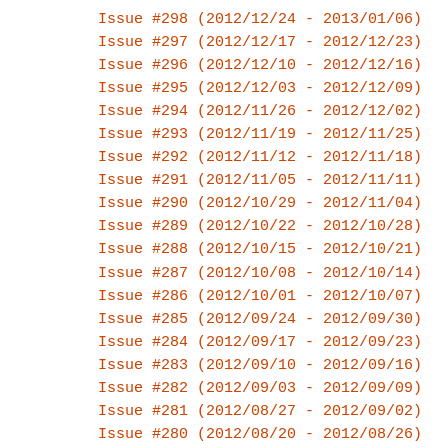Issue #298 (2012/12/24 - 2013/01/06)
Issue #297 (2012/12/17 - 2012/12/23)
Issue #296 (2012/12/10 - 2012/12/16)
Issue #295 (2012/12/03 - 2012/12/09)
Issue #294 (2012/11/26 - 2012/12/02)
Issue #293 (2012/11/19 - 2012/11/25)
Issue #292 (2012/11/12 - 2012/11/18)
Issue #291 (2012/11/05 - 2012/11/11)
Issue #290 (2012/10/29 - 2012/11/04)
Issue #289 (2012/10/22 - 2012/10/28)
Issue #288 (2012/10/15 - 2012/10/21)
Issue #287 (2012/10/08 - 2012/10/14)
Issue #286 (2012/10/01 - 2012/10/07)
Issue #285 (2012/09/24 - 2012/09/30)
Issue #284 (2012/09/17 - 2012/09/23)
Issue #283 (2012/09/10 - 2012/09/16)
Issue #282 (2012/09/03 - 2012/09/09)
Issue #281 (2012/08/27 - 2012/09/02)
Issue #280 (2012/08/20 - 2012/08/26)
Issue #279 (2012/08/13 - 2012/08/19)
Issue #278 (2012/08/06 - 2012/08/12)
Issue #277 (2012/07/30 - 2012/08/05)
Issue #276 (2012/07/23 - 2012/07/29)